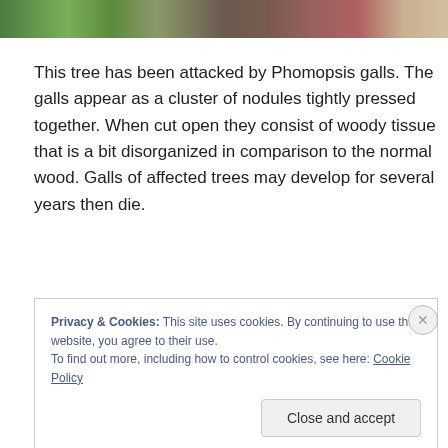[Figure (photo): Partial view of a tree or plant with green foliage, dark and reddish areas visible, cropped at the top of the page.]
This tree has been attacked by Phomopsis galls. The galls appear as a cluster of nodules tightly pressed together. When cut open they consist of woody tissue that is a bit disorganized in comparison to the normal wood. Galls of affected trees may develop for several years then die.
Privacy & Cookies: This site uses cookies. By continuing to use this website, you agree to their use.
To find out more, including how to control cookies, see here: Cookie Policy

Close and accept